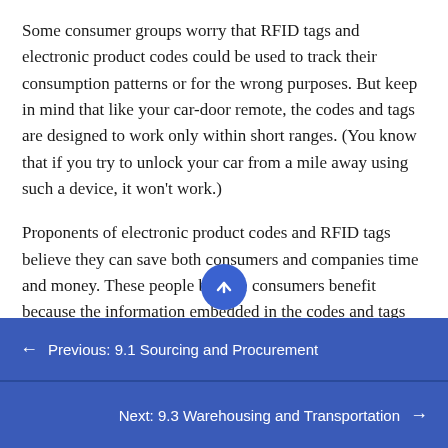Some consumer groups worry that RFID tags and electronic product codes could be used to track their consumption patterns or for the wrong purposes. But keep in mind that like your car-door remote, the codes and tags are designed to work only within short ranges. (You know that if you try to unlock your car from a mile away using such a device, it won't work.)
Proponents of electronic product codes and RFID tags believe they can save both consumers and companies time and money. These people believe consumers benefit because the information embedded in the codes and tags help prevent stockouts and out-of-date products from remaining on store shelves. In addition, the technology
← Previous: 9.1 Sourcing and Procurement
Next: 9.3 Warehousing and Transportation →